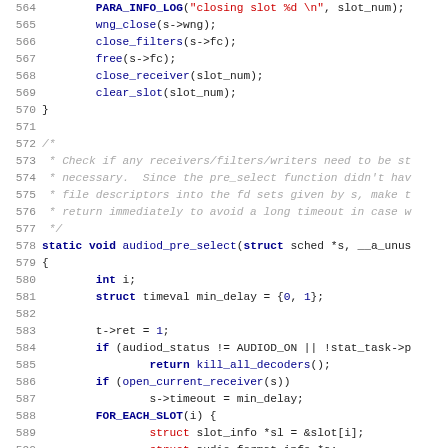[Figure (screenshot): Source code listing (C language) showing lines 564-595 of an audio daemon implementation. Lines include function calls like PARA_INFO_LOG, wng_close, close_filters, free, close_receiver, clear_slot, and the function audiod_pre_select with its body including struct declarations, conditionals, and FOR_EACH_SLOT loop.]